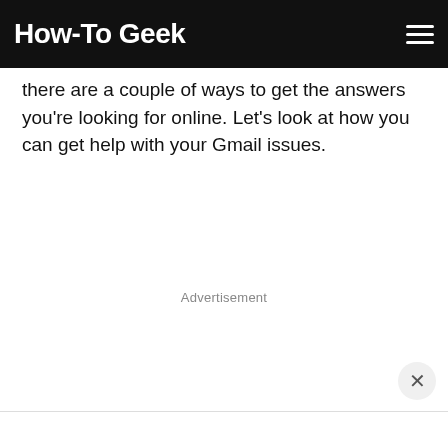How-To Geek
there are a couple of ways to get the answers you're looking for online. Let's look at how you can get help with your Gmail issues.
Advertisement